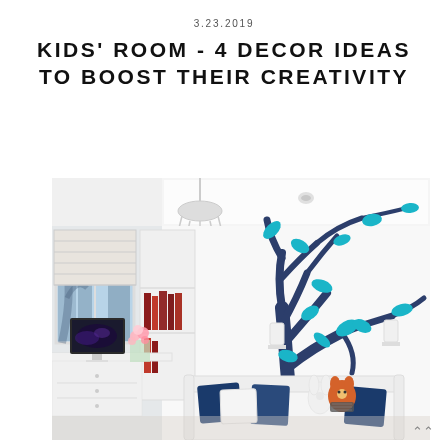3.23.2019
KIDS' ROOM - 4 DECOR IDEAS TO BOOST THEIR CREATIVITY
[Figure (photo): Modern white kids' room with a large dark blue tree wall art with teal/turquoise leaves, white daybed with navy blue and white pillows, stuffed animal toys (fox and rabbit), white chandelier, window with roman shade, white bookshelf with books, white desk with iMac computer and pink flowers, city view outside window.]